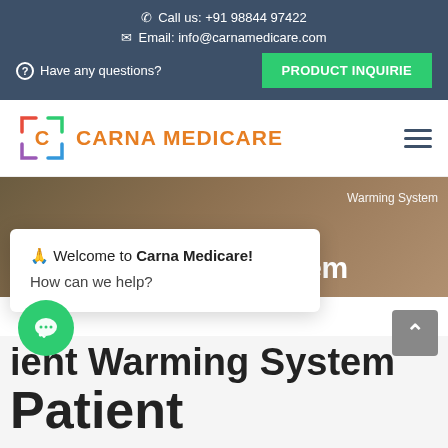Call us: +91 98844 97422
Email: info@carnamedicare.com
Have any questions? | PRODUCT INQUIRIE
[Figure (logo): Carna Medicare logo with colorful bracket icon and orange text]
Patient Warming System
Warming System
🙏 Welcome to Carna Medicare! How can we help?
ient Warming System
Patient